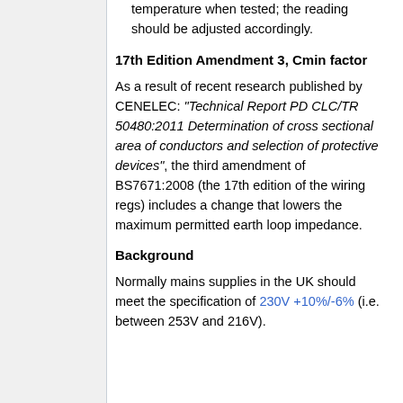temperature when tested; the reading should be adjusted accordingly.
17th Edition Amendment 3, Cmin factor
As a result of recent research published by CENELEC: "Technical Report PD CLC/TR 50480:2011 Determination of cross sectional area of conductors and selection of protective devices", the third amendment of BS7671:2008 (the 17th edition of the wiring regs) includes a change that lowers the maximum permitted earth loop impedance.
Background
Normally mains supplies in the UK should meet the specification of 230V +10%/-6% (i.e. between 253V and 216V).